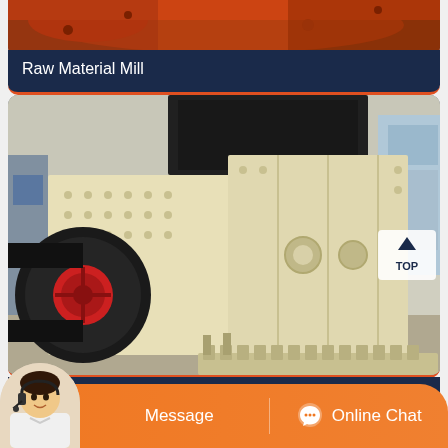[Figure (photo): Partial top view of a Raw Material Mill machine with red/orange cylindrical body]
Raw Material Mill
[Figure (photo): Single-Stage Crusher machine in cream/beige color with black belt wheels and red hub, in an industrial facility]
Single-Stage Crusher
Message
Online Chat